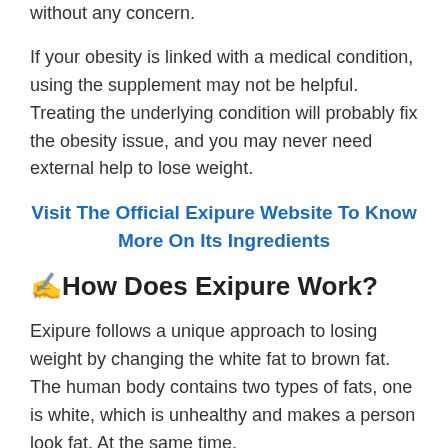without any concern.
If your obesity is linked with a medical condition, using the supplement may not be helpful. Treating the underlying condition will probably fix the obesity issue, and you may never need external help to lose weight.
Visit The Official Exipure Website To Know More On Its Ingredients
✍How Does Exipure Work?
Exipure follows a unique approach to losing weight by changing the white fat to brown fat. The human body contains two types of fats, one is white, which is unhealthy and makes a person look fat. At the same time,